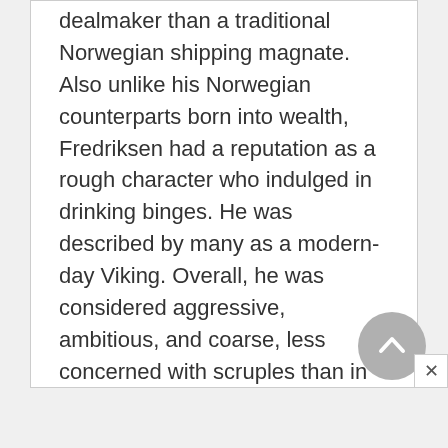dealmaker than a traditional Norwegian shipping magnate. Also unlike his Norwegian counterparts born into wealth, Fredriksen had a reputation as a rough character who indulged in drinking binges. He was described by many as a modern-day Viking. Overall, he was considered aggressive, ambitious, and coarse, less concerned with scruples than in achieving success.